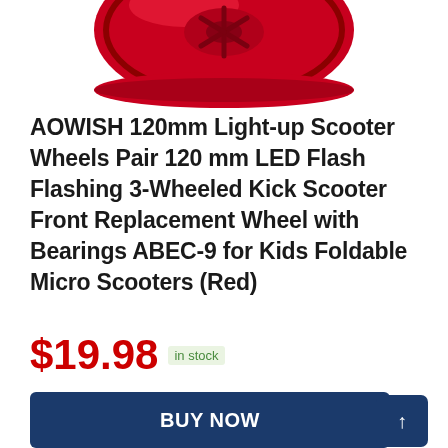[Figure (photo): Red scooter wheel viewed from above, showing a red disc-shaped wheel with LED flash design, partially cropped at top of page]
AOWISH 120mm Light-up Scooter Wheels Pair 120 mm LED Flash Flashing 3-Wheeled Kick Scooter Front Replacement Wheel with Bearings ABEC-9 for Kids Foldable Micro Scooters (Red)
$19.98 in stock
BUY NOW
Amazon.com